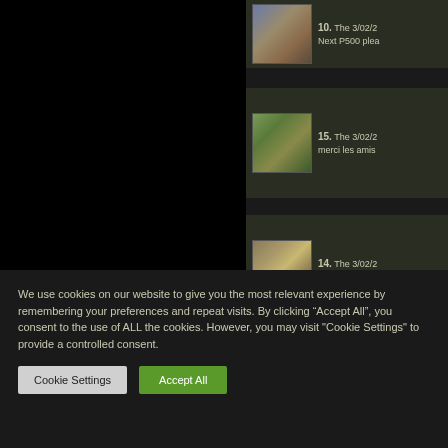[Figure (screenshot): Dark website UI showing a list of items. Left half is black. Right panel shows three list items with thumbnails and partial text.]
10. The 3/02/2... Next P500 plea...
15. The 3/02/20... merci les amis
14. The 3/02/20... Qu’une seule c...
We use cookies on our website to give you the most relevant experience by remembering your preferences and repeat visits. By clicking “Accept All”, you consent to the use of ALL the cookies. However, you may visit "Cookie Settings" to provide a controlled consent.
Cookie Settings   Accept All